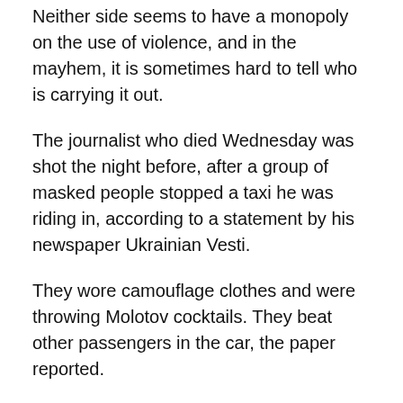Neither side seems to have a monopoly on the use of violence, and in the mayhem, it is sometimes hard to tell who is carrying it out.
The journalist who died Wednesday was shot the night before, after a group of masked people stopped a taxi he was riding in, according to a statement by his newspaper Ukrainian Vesti.
They wore camouflage clothes and were throwing Molotov cocktails. They beat other passengers in the car, the paper reported.
Hopes dashed hard
Tuesday's violence followed what seemed like a rare breakthrough.
The government had said it would drop charges against